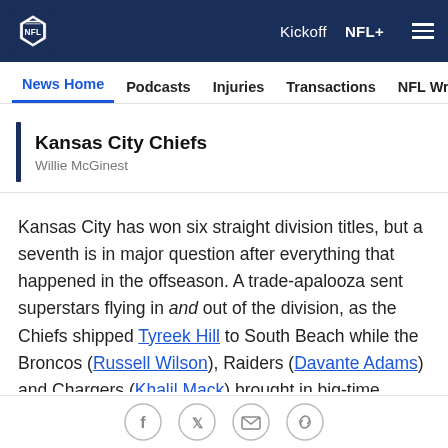NFL — Kickoff | NFL+ | Menu
News Home | Podcasts | Injuries | Transactions | NFL Writers | Se
Kansas City Chiefs
Willie McGinest
Kansas City has won six straight division titles, but a seventh is in major question after everything that happened in the offseason. A trade-apalooza sent superstars flying in and out of the division, as the Chiefs shipped Tyreek Hill to South Beach while the Broncos (Russell Wilson), Raiders (Davante Adams) and Chargers (Khalil Mack) brought in big-time playmakers. K.C. is as vulnerable as it has ever been in the Andy Reid-Patrick Mahomes era...